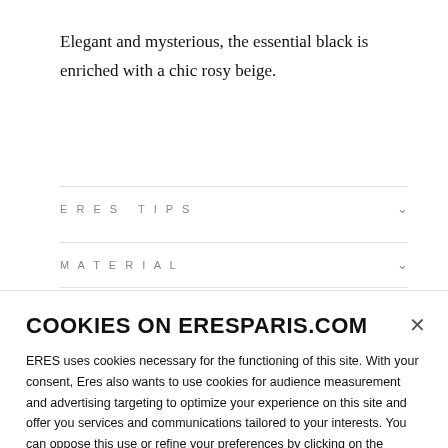Elegant and mysterious, the essential black is enriched with a chic rosy beige.
ERES TIPS
MATERIAL
COOKIES ON ERESPARIS.COM
ERES uses cookies necessary for the functioning of this site. With your consent, Eres also wants to use cookies for audience measurement and advertising targeting to optimize your experience on this site and offer you services and communications tailored to your interests. You can oppose this use or refine your preferences by clicking on the cookie settings button.
Cookies settings
Accept cookies